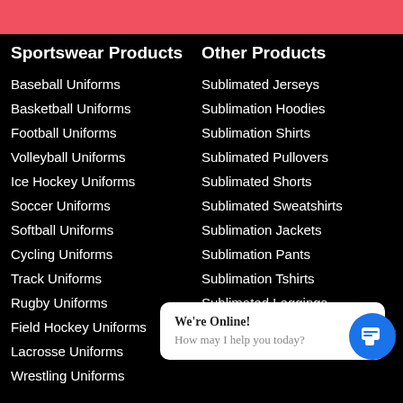Sportswear Products
Other Products
Baseball Uniforms
Sublimated Jerseys
Basketball Uniforms
Sublimation Hoodies
Football Uniforms
Sublimation Shirts
Volleyball Uniforms
Sublimated Pullovers
Ice Hockey Uniforms
Sublimated Shorts
Soccer Uniforms
Sublimated Sweatshirts
Softball Uniforms
Sublimation Jackets
Cycling Uniforms
Sublimation Pants
Track Uniforms
Sublimation Tshirts
Rugby Uniforms
Sublimated Leggings
Field Hockey Uniforms
Lacrosse Uniforms
Wrestling Uniforms
Custom Drawstring bags